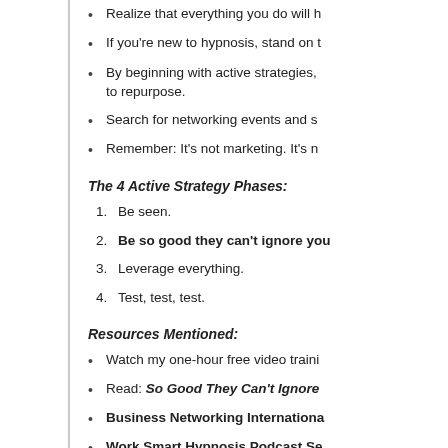Realize that everything you do will h
If you're new to hypnosis, stand on t
By beginning with active strategies, to repurpose.
Search for networking events and s
Remember: It's not marketing. It's n
The 4 Active Strategy Phases:
1. Be seen.
2. Be so good they can't ignore you
3. Leverage everything.
4. Test, test, test.
Resources Mentioned:
Watch my one-hour free video traini
Read: So Good They Can't Ignore
Business Networking Internationa
Work Smart Hypnosis Podcast Se
Work Smart Hypnosis Podcast Se
There Is Life Outside Your Apartm